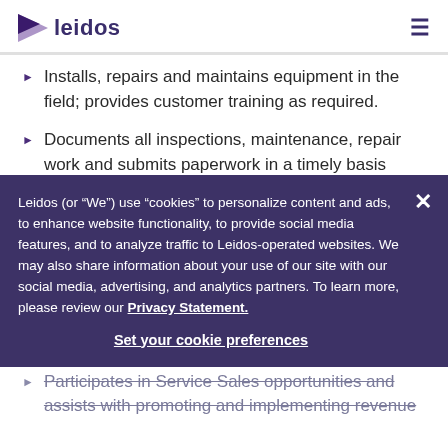leidos
Installs, repairs and maintains equipment in the field; provides customer training as required.
Documents all inspections, maintenance, repair work and submits paperwork in a timely basis
Coordinates all depot level repairs and manages repair parts cycle time.
Reviews all logs for open issues and prepares formal reports/actions for supervisors/managers as necessary.
Participates in Service Sales opportunities and assists with promoting and implementing revenue
Leidos (or “We”) use “cookies” to personalize content and ads, to enhance website functionality, to provide social media features, and to analyze traffic to Leidos-operated websites. We may also share information about your use of our site with our social media, advertising, and analytics partners. To learn more, please review our Privacy Statement.
Set your cookie preferences